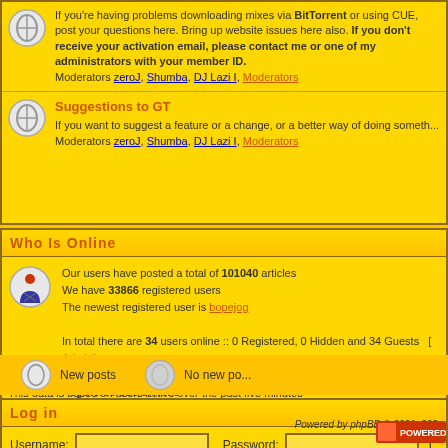If you're having problems downloading mixes via BitTorrent or using CUE, post your questions here. Bring up website issues here also. If you don't receive your activation email, please contact me or one of my administrators with your member ID.
Moderators zeroJ, Shumba, DJ Lazi I, Moderators
Suggestions to GT
If you want to suggest a feature or a change, or a better way of doing something, come here.
Moderators zeroJ, Shumba, DJ Lazi I, Moderators
Who Is Online
Our users have posted a total of 101040 articles
We have 33866 registered users
The newest registered user is bopejog
In total there are 34 users online :: 0 Registered, 0 Hidden and 34 Guests  [ Adminis...
Most users ever online was 378 on Wed Nov 18, 2020 7:02 pm
Registered Users: None
This data is based on users active over the past five minutes
Log in
Username:    Password:
New posts    No new po...
Powered by phpBB © 2001, 200...